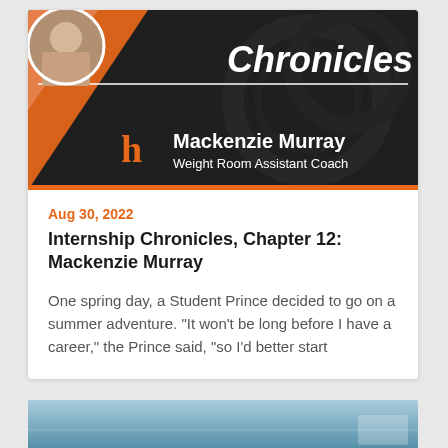[Figure (illustration): Banner header with dark background showing large tire imagery, orange corner accent, circular photo of Mackenzie Murray, 'Chronicles' title text, white horizontal rule, orange H logo, person name and title block]
Aug 30, 2022
Internship Chronicles, Chapter 12: Mackenzie Murray
One spring day, a Student Prince decided to go on a summer adventure. "It won't be long before I have a career," the Prince said, "so I'd better start
[Figure (photo): Bottom strip showing partial image, likely outdoor/aerial scene with blue tones]